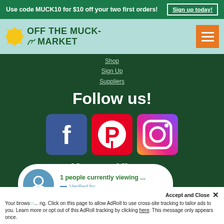Use code MUCK10 for $10 off your two first orders! Sign up today!
[Figure (logo): Off The Muck Market logo with sun icon and green text on light teal background]
Shop
Sign Up
Suppliers
Follow us!
[Figure (infographic): Three social media icons: Facebook (blue), Pinterest (red), Instagram (gradient purple/orange)]
Gift Certificates
[Figure (infographic): Popup notification: 1 people currently viewing ... with user avatar icon and Verified by Provely badge]
Your browser ... ng. Click on this page to allow AdRoll to use cross-site tracking to tailor ads to you. Learn more or opt out of this AdRoll tracking by clicking here. This message only appears once.